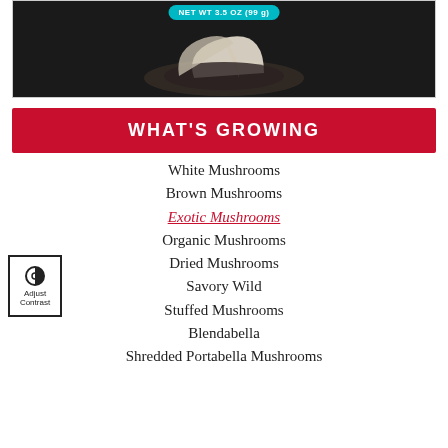[Figure (photo): Product image of mushrooms in a dark tray with a teal/cyan NET WT 3.5 OZ (99g) badge at the top]
WHAT'S GROWING
White Mushrooms
Brown Mushrooms
Exotic Mushrooms
Organic Mushrooms
Dried Mushrooms
Savory Wild
Stuffed Mushrooms
Blendabella
Shredded Portabella Mushrooms